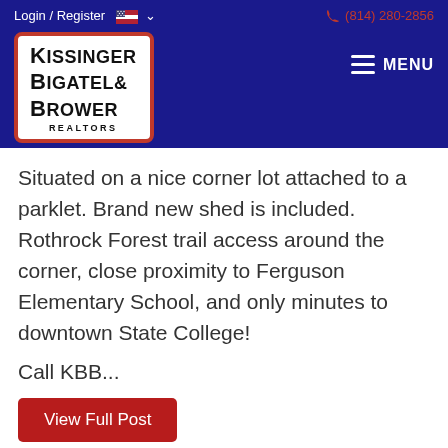Login / Register   🇺🇸 ∨   (814) 280-2856
[Figure (logo): Kissinger Bigatel & Brower Realtors logo with red border on white background, inside dark blue navigation bar]
Situated on a nice corner lot attached to a parklet. Brand new shed is included. Rothrock Forest trail access around the corner, close proximity to Ferguson Elementary School, and only minutes to downtown State College!
Call KBB...
View Full Post
[Figure (illustration): Accessibility (wheelchair) icon in red circle]